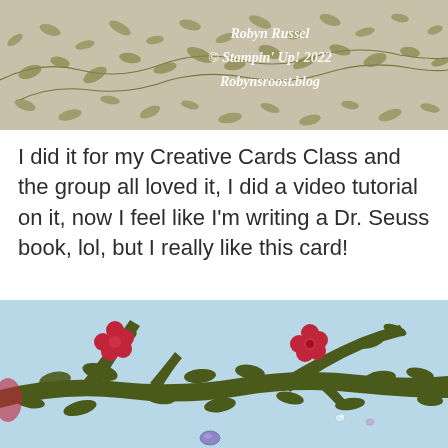[Figure (photo): Close-up photo of a decorative card or box with an olive/gold leaf pattern stamped on a light background. Over the image in white italic script text: 'Robyn Russel © Stampin' Up! 2022 Robynsroost.blog']
I did it for my Creative Cards Class and the group all loved it, I did a video tutorial on it, now I feel like I'm writing a Dr. Seuss book, lol, but I really like this card!
[Figure (photo): Close-up photo of a handmade card featuring dark olive green die-cut branches with red flower embellishments on a light blue background, with small rhinestone/gem accents.]